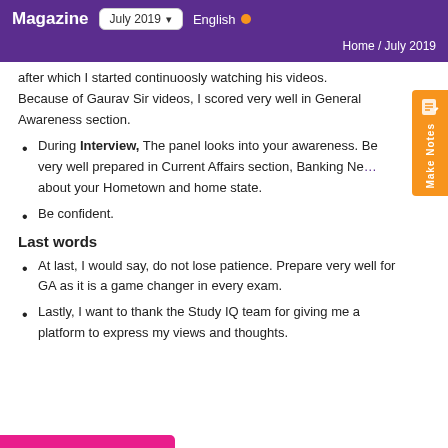Magazine | July 2019 | English
Home / July 2019
after which I started continuoosly watching his videos. Because of Gaurav Sir videos, I scored very well in General Awareness section.
During Interview, The panel looks into your awareness. Be very well prepared in Current Affairs section, Banking Ne... about your Hometown and home state.
Be confident.
Last words
At last, I would say, do not lose patience. Prepare very well for GA as it is a game changer in every exam.
Lastly, I want to thank the Study IQ team for giving me a platform to express my views and thoughts.